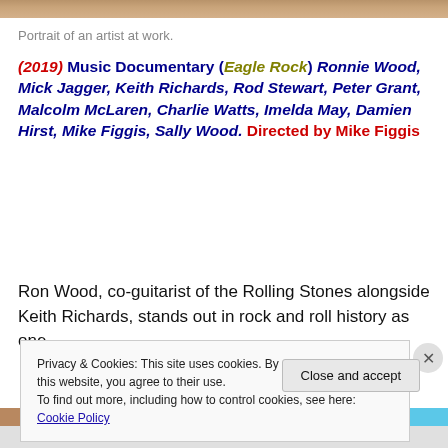Portrait of an artist at work.
(2019) Music Documentary (Eagle Rock) Ronnie Wood, Mick Jagger, Keith Richards, Rod Stewart, Peter Grant, Malcolm McLaren, Charlie Watts, Imelda May, Damien Hirst, Mike Figgis, Sally Wood. Directed by Mike Figgis
Ron Wood, co-guitarist of the Rolling Stones alongside Keith Richards, stands out in rock and roll history as one
Privacy & Cookies: This site uses cookies. By continuing to use this website, you agree to their use.
To find out more, including how to control cookies, see here: Cookie Policy
Close and accept